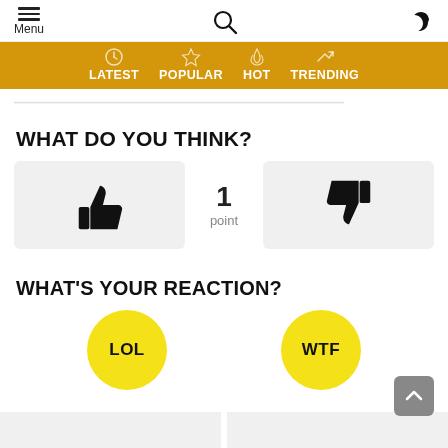Menu | Search | Dark mode toggle
LATEST | POPULAR | HOT | TRENDING
WHAT DO YOU THINK?
[Figure (infographic): Thumbs up button, score of 1 point, and thumbs down button voting widget]
WHAT'S YOUR REACTION?
[Figure (infographic): Two yellow circular reaction buttons labeled LOL and WTF]